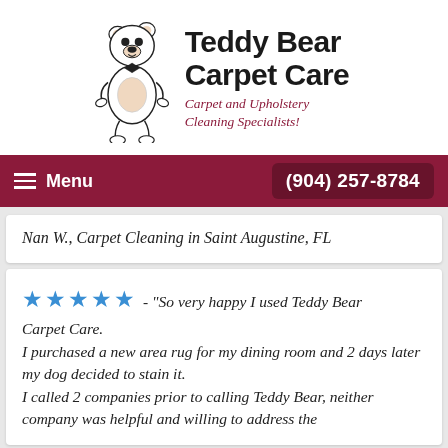[Figure (logo): Teddy Bear Carpet Care logo with illustrated bear and company name]
Teddy Bear Carpet Care
Carpet and Upholstery Cleaning Specialists!
Menu   (904) 257-8784
Nan W., Carpet Cleaning in Saint Augustine, FL
★★★★★ - "So very happy I used Teddy Bear Carpet Care. I purchased a new area rug for my dining room and 2 days later my dog decided to stain it. I called 2 companies prior to calling Teddy Bear, neither company was helpful and willing to address the